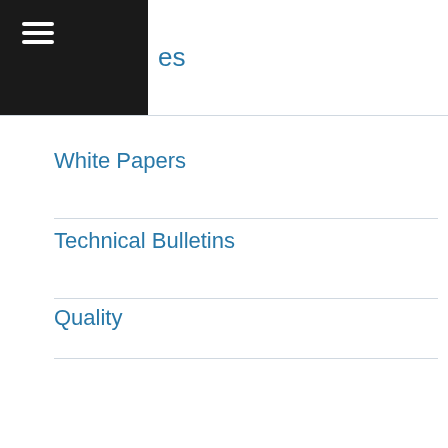es
White Papers
Technical Bulletins
Quality
Service & Maintenance
General Information
About Us
Trade Shows
[Figure (screenshot): Chat popup with reindeer mascot (Dr. Rudy) and message: Have a question? I can help! Need information fast? I'm your shortcut. Click on Me! Dr. Rudy]
English